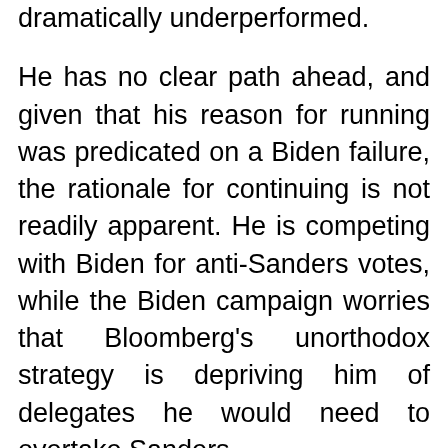dramatically underperformed.
He has no clear path ahead, and given that his reason for running was predicated on a Biden failure, the rationale for continuing is not readily apparent. He is competing with Biden for anti-Sanders votes, while the Biden campaign worries that Bloomberg's unorthodox strategy is depriving him of delegates he would need to overtake Sanders.
In Florida on Tuesday Bloomberg insisted he's staying in, but it will get harder for him to make that argument if he starts approaching the status of John Connally, another big-spending party switcher who flopped in the 1980 GOP primary and only netted a single delegate.
Sen. Elizabeth Warren did not win a single